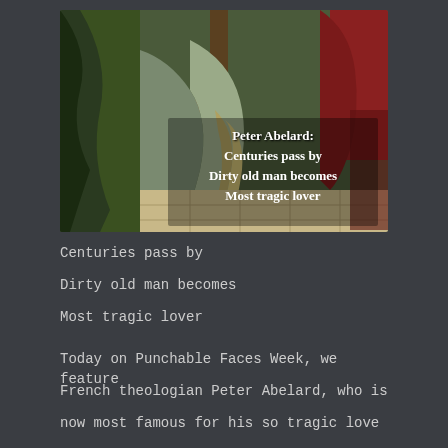[Figure (photo): A painting depicting a medieval scene with robed figures, with overlaid text reading 'Peter Abelard: Centuries pass by / Dirty old man becomes / Most tragic lover']
Centuries pass by
Dirty old man becomes
Most tragic lover
Today on Punchable Faces Week, we feature French theologian Peter Abelard, who is now most famous for his so tragic love